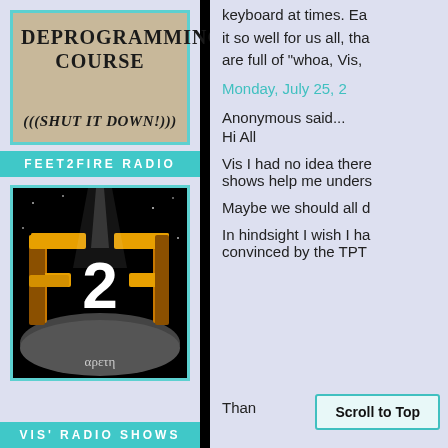DEPROGRAMMING COURSE
(((SHUT IT DOWN!)))
FEET2FIRE RADIO
[Figure (logo): Feet2Fire Radio logo: F2F stylized gold letters on black background with moon and Greek text arete]
VIS' RADIO SHOWS
keyboard at times. Ea it so well for us all, tha are full of "whoa, Vis,
Monday, July 25, 2
Anonymous said...
Hi All
Vis I had no idea there shows help me unders
Maybe we should all d
In hindsight I wish I ha convinced by the TPT
Than
Scroll to Top